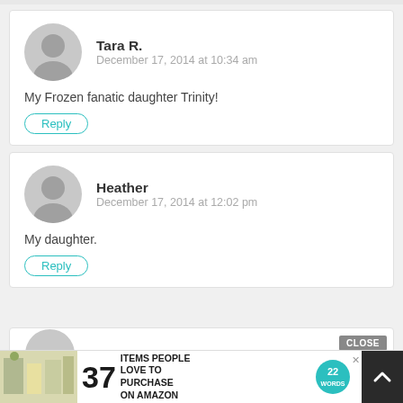Tara R. — December 17, 2014 at 10:34 am
My Frozen fanatic daughter Trinity!
Reply
Heather — December 17, 2014 at 12:02 pm
My daughter.
Reply
[Figure (infographic): Advertisement banner: 37 Items People Love to Purchase on Amazon, with 22 Words logo]